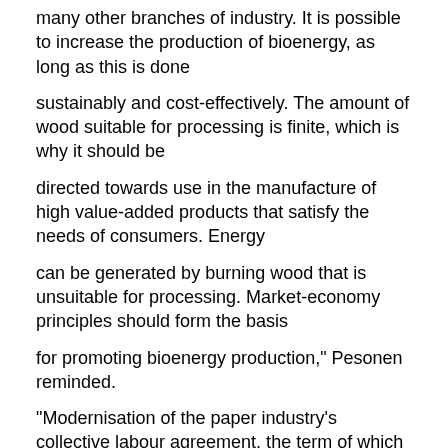many other branches of industry. It is possible to increase the production of bioenergy, as long as this is done
sustainably and cost-effectively. The amount of wood suitable for processing is finite, which is why it should be
directed towards use in the manufacture of high value-added products that satisfy the needs of consumers. Energy
can be generated by burning wood that is unsuitable for processing. Market-economy principles should form the basis
for promoting bioenergy production," Pesonen reminded.
"Modernisation of the paper industry's collective labour agreement, the term of which ends next spring, is one of
the most central improvements necessary to improve competitiveness and, as such, a shared responsibility for both
employees and employers. Many of the recently concluded collective labour agreements in the forest industry